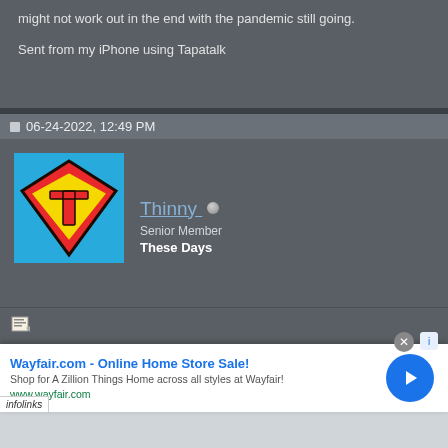might not work out in the end with the pandemic still going.
Sent from my iPhone using Tapatalk
06-24-2022, 12:49 PM
[Figure (illustration): Superman-style avatar with letter T on chest, blue background, red and yellow diamond shield]
Thinny
Senior Member
These Days
Quote:
Originally Posted by blazeofglory
Wayfair.com - Online Home Store Sale!
Shop for A Zillion Things Home across all styles at Wayfair!
www.wayfair.com